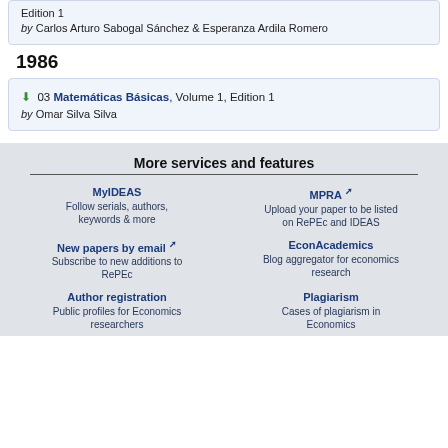Edition 1
by Carlos Arturo Sabogal Sánchez & Esperanza Ardila Romero
1986
03 Matemáticas Básicas, Volume 1, Edition 1
by Omar Silva Silva
More services and features
MyIDEAS
Follow serials, authors, keywords & more
MPRA
Upload your paper to be listed on RePEc and IDEAS
New papers by email
Subscribe to new additions to RePEc
EconAcademics
Blog aggregator for economics research
Author registration
Public profiles for Economics researchers
Plagiarism
Cases of plagiarism in Economics